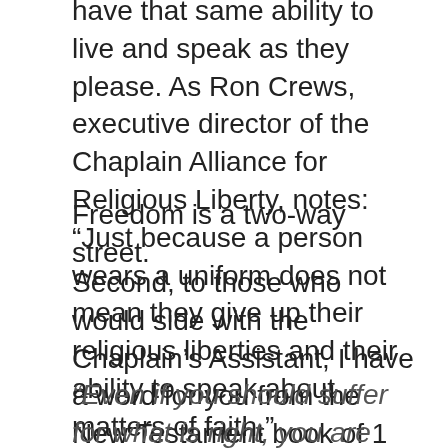have that same ability to live and speak as they please. As Ron Crews, executive director of the Chaplain Alliance for Religious Liberty, notes: "Just because a person wears a uniform does not mean they give up their religious liberties and their ability to speak about matters of faith."
Freedom is a two-way street.
Second, to those who would side with the Chaplain's Assistant, I have a word for you from the New Testament book of 1 Peter 3:14-18 ~
“Even if you should suffer for what is right, you are blessed. Do not fear their threats; do not be frightened. But in your hearts revere Christ as Lord. Always be prepared to give an answer to everyone who asks you to give the reason